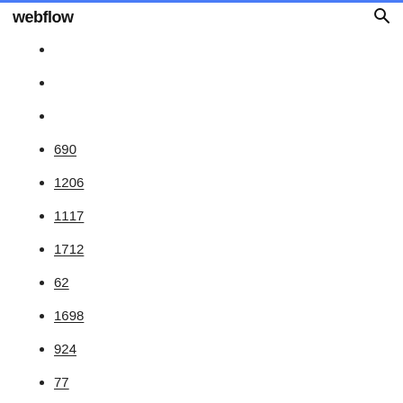webflow
690
1206
1117
1712
62
1698
924
77
1948